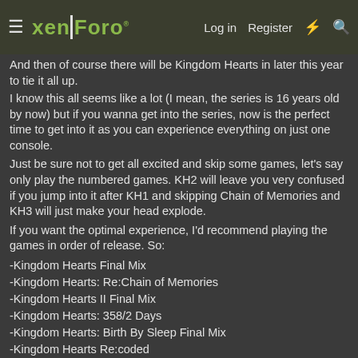xenForo | Log in | Register
And then of course there will be Kingdom Hearts in later this year to tie it all up.
I know this all seems like a lot (I mean, the series is 16 years old by now) but if you wanna get into the series, now is the perfect time to get into it as you can experience everything on just one console.
Just be sure not to get all excited and skip some games, let's say only play the numbered games. KH2 will leave you very confused if you jump into it after KH1 and skipping Chain of Memories and KH3 will just make your head explode.
If you want the optimal experience, I'd recommend playing the games in order of release. So:
-Kingdom Hearts Final Mix
-Kingdom Hearts: Re:Chain of Memories
-Kingdom Hearts II Final Mix
-Kingdom Hearts: 358/2 Days
-Kingdom Hearts: Birth By Sleep Final Mix
-Kingdom Hearts Re:coded
-Kingdom Hearts Dream Drop Distance HD
-Kingdom Hearts 0.2 Birth by Sleep